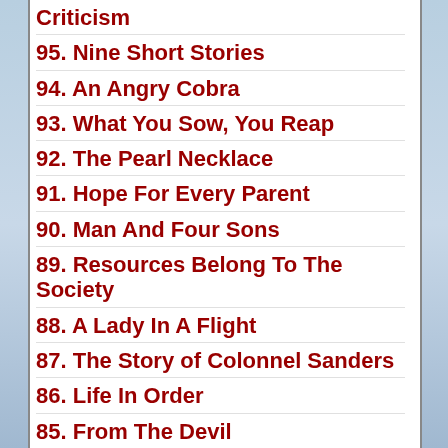Criticism
95. Nine Short Stories
94. An Angry Cobra
93. What You Sow, You Reap
92. The Pearl Necklace
91. Hope For Every Parent
90. Man And Four Sons
89. Resources Belong To The Society
88. A Lady In A Flight
87. The Story of Colonnel Sanders
86. Life In Order
85. From The Devil
84. Almost Gold...